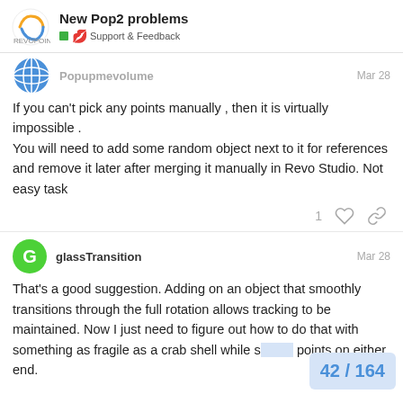New Pop2 problems — Support & Feedback
Popupmevolume Mar 28
If you can't pick any points manually , then it is virtually impossible .
You will need to add some random object next to it for references and remove it later after merging it manually in Revo Studio. Not easy task
1 [like] [link]
glassTransition Mar 28
That's a good suggestion. Adding on an object that smoothly transitions through the full rotation allows tracking to be maintained. Now I just need to figure out how to do that with something as fragile as a crab shell while s... points on either end.
42 / 164